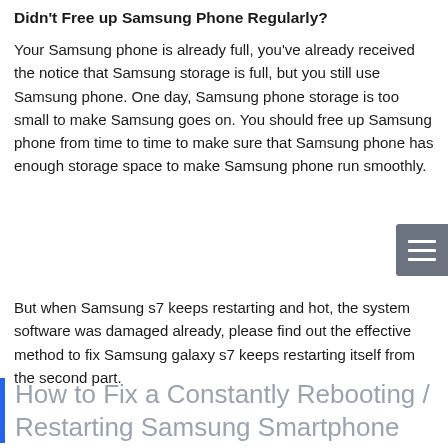Didn't Free up Samsung Phone Regularly?
Your Samsung phone is already full, you've already received the notice that Samsung storage is full, but you still use Samsung phone. One day, Samsung phone storage is too small to make Samsung goes on. You should free up Samsung phone from time to time to make sure that Samsung phone has enough storage space to make Samsung phone run smoothly.
But when Samsung s7 keeps restarting and hot, the system software was damaged already, please find out the effective method to fix Samsung galaxy s7 keeps restarting itself from the second part.
How to Fix a Constantly Rebooting / Restarting Samsung Smartphone